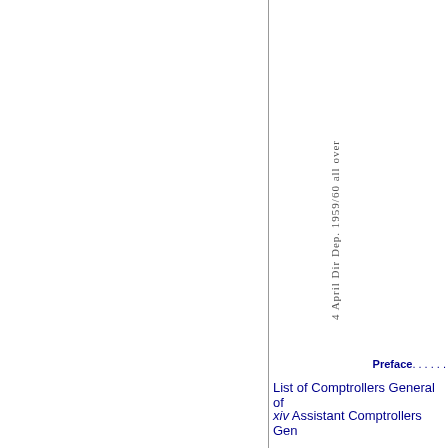[Figure (other): Handwritten annotation rotated vertically reading '4 April Dir Dep. 1959/60 all over' in cursive script, positioned in the right panel of the page]
Preface.....
List of Comptrollers General of
xiv Assistant Comptrollers Gen